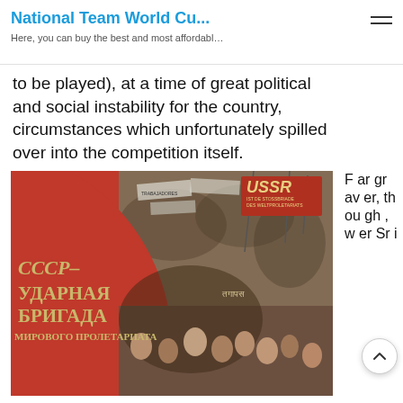National Team World Cu...
Here, you can buy the best and most affordabl…
to be played), at a time of great political and social instability for the country, circumstances which unfortunately spilled over into the competition itself.
[Figure (photo): Soviet propaganda poster showing a large crowd rally with Cyrillic text reading 'СССР - УДАРНАЯ БРИГАДА МИРОВОГО ПРОЛЕТАРИАТА' (USSR - Shock Brigade of the World Proletariat) with 'USSR' badge on a red background]
Far graver, though, wer Sr